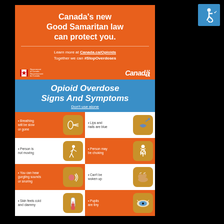Canada's new Good Samaritan law can protect you.
Learn more at Canada.ca/Opioids
Together we can #StopOverdoses
[Figure (infographic): Opioid Overdose Signs And Symptoms infographic with icons showing: Breathing will be slow or gone, Lips and nails are blue, Person is not moving, Person may be choking, You can hear gurgling sounds or snoring, Can't be woken up, Skin feels cold and clammy, Pupils are tiny]
[Figure (logo): Accessibility wheelchair symbol icon in teal square]
Don't use alone